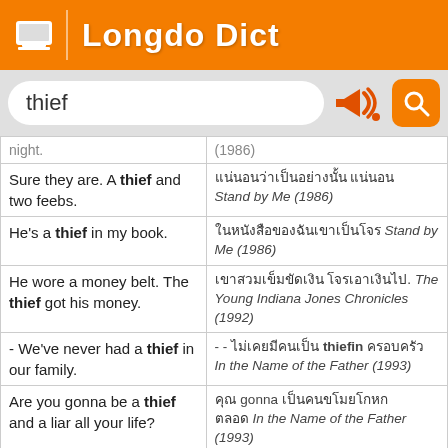Longdo Dict
thief (search input)
| English | Thai/Source |
| --- | --- |
| night. | (1986) |
| Sure they are. A thief and two feebs. | ใช่แน่ เลยเพราะหัวขโมยสองหน้า Stand by Me (1986) |
| He's a thief in my book. | ในสายตาฉันมันเป็นขโมย Stand by Me (1986) |
| He wore a money belt. The thief got his money. | เขาสวมเข็มขัดใส่เงิน โจรได้เงินเขาไป. The Young Indiana Jones Chronicles (1992) |
| - We've never had a thief in our family. | - - ไม่เคยมีคนเป็น thiefin ครอบครัว In the Name of the Father (1993) |
| Are you gonna be a thief and a liar all your life? | คุณ gonna เป็นคนขโมยโกหกตลอดชีวิต In the Name of the Father (1993) |
| An honest thief. We have an honest thief here, do we? | โจรที่ซื่อสัตย์ เรามีโจรที่ซื่อสัตย์นะ Titanic (1997) |
| A thief and a liar Pops I | ขโมยนักโกหก The Legend |